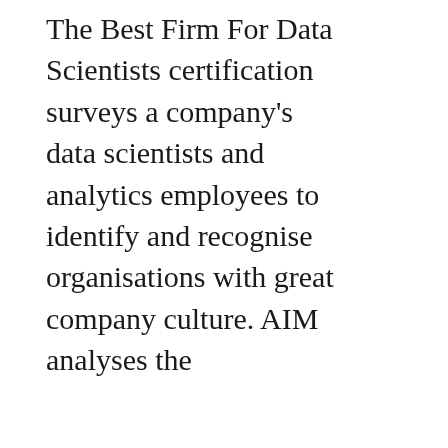The Best Firm For Data Scientists certification surveys a company's data scientists and analytics employees to identify and recognise organisations with great company culture. AIM analyses the